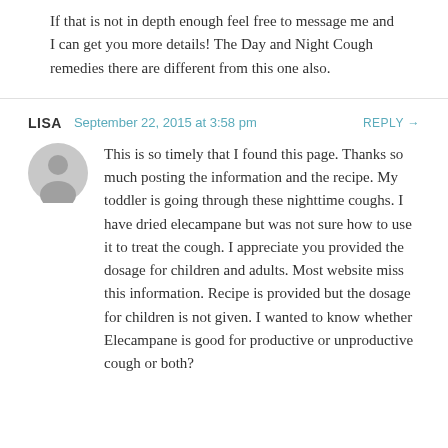If that is not in depth enough feel free to message me and I can get you more details! The Day and Night Cough remedies there are different from this one also.
LISA  September 22, 2015 at 3:58 pm  REPLY →
This is so timely that I found this page. Thanks so much posting the information and the recipe. My toddler is going through these nighttime coughs. I have dried elecampane but was not sure how to use it to treat the cough. I appreciate you provided the dosage for children and adults. Most website miss this information. Recipe is provided but the dosage for children is not given. I wanted to know whether Elecampane is good for productive or unproductive cough or both?